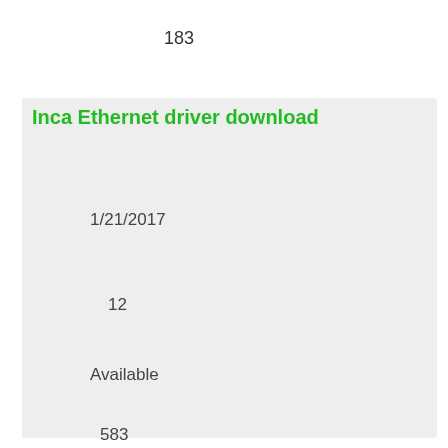183
Inca Ethernet driver download
1/21/2017
12
Available
583